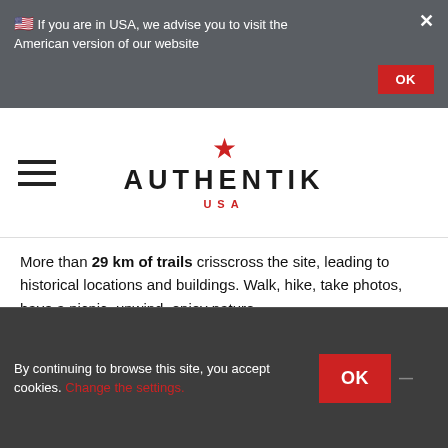🇺🇸 If you are in USA, we advise you to visit the American version of our website
[Figure (logo): Authentik USA logo with red star above bold text AUTHENTIK and red USA text below]
More than 29 km of trails crisscross the site, leading to historical locations and buildings. Walk, hike, take photos, have a picnic, unwind, enjoy nature.
The park, which was named a National Historical Landmark in 1963, is open daily from 9 a.m. to 5 p.m., the museum from 10 a.m. to 5 p.m., and the cottage from noon to 4 p.m.
By continuing to browse this site, you accept cookies. Change the settings.